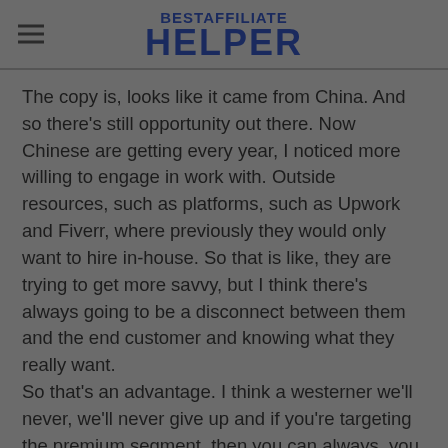BESTAFFILIATE HELPER
The copy is, looks like it came from China. And so there's still opportunity out there. Now Chinese are getting every year, I noticed more willing to engage in work with. Outside resources, such as platforms, such as Upwork and Fiverr, where previously they would only want to hire in-house. So that is like, they are trying to get more savvy, but I think there's always going to be a disconnect between them and the end customer and knowing what they really want.
So that's an advantage. I think a westerner we'll never, we'll never give up and if you're targeting the premium segment, then you can always, you can always kind of carry away or beat out the